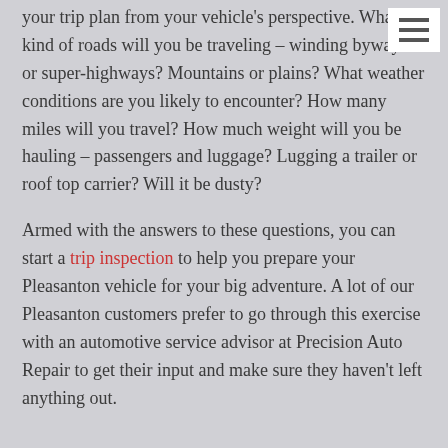your trip plan from your vehicle's perspective. What kind of roads will you be traveling – winding byways or super-highways? Mountains or plains? What weather conditions are you likely to encounter? How many miles will you travel? How much weight will you be hauling – passengers and luggage? Lugging a trailer or roof top carrier? Will it be dusty?
Armed with the answers to these questions, you can start a trip inspection to help you prepare your Pleasanton vehicle for your big adventure. A lot of our Pleasanton customers prefer to go through this exercise with an automotive service advisor at Precision Auto Repair to get their input and make sure they haven't left anything out.